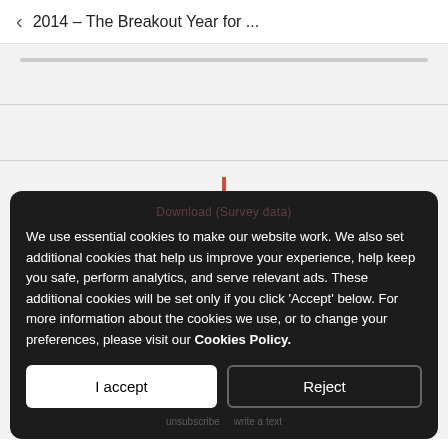2014 – The Breakout Year for ...
We use essential cookies to make our website work. We also set additional cookies that help us improve your experience, help keep you safe, perform analytics, and serve relevant ads. These additional cookies will be set only if you click 'Accept' below. For more information about the cookies we use, or to change your preferences, please visit our Cookies Policy.
I accept
Reject